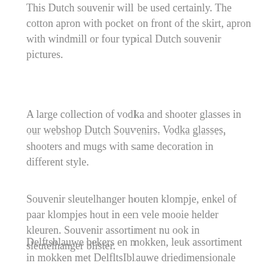This Dutch souvenir will be used certainly. The cotton apron with pocket on front of the skirt, apron with windmill or four typical Dutch souvenir pictures.
A large collection of vodka and shooter glasses in our webshop Dutch Souvenirs. Vodka glasses, shooters and mugs with same decoration in different style.
Souvenir sleutelhanger houten klompje, enkel of paar klompjes hout in een vele mooie helder kleuren. Souvenir assortiment nu ook in sleutelhanger blister.
Delftsblauwe bekers en mokken, leuk assortiment in mokken met DelfltsIblauwe driedimensionale